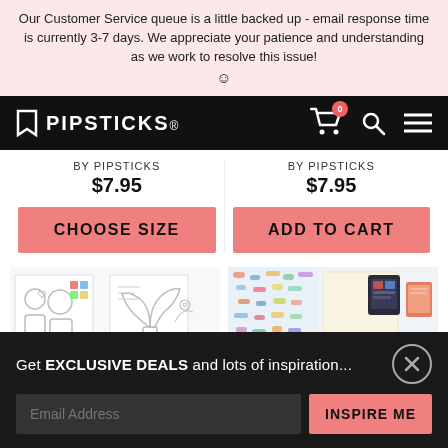Our Customer Service queue is a little backed up - email response time is currently 3-7 days. We appreciate your patience and understanding as we work to resolve this issue! ☺
PIPSTICKS navigation bar with cart (0), search, and menu icons
BY PIPSTICKS
$7.95
CHOOSE SIZE
BY PIPSTICKS
$7.95
ADD TO CART
[Figure (screenshot): Two product image thumbnails partially visible at bottom of page - coloring pages on left, patterned paper on right]
Get EXCLUSIVE DEALS and lots of inspiration...
Email Address
INSPIRE ME